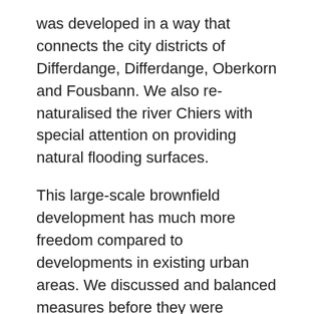was developed in a way that connects the city districts of Differdange, Differdange, Oberkorn and Fousbann. We also re-naturalised the river Chiers with special attention on providing natural flooding surfaces.
This large-scale brownfield development has much more freedom compared to developments in existing urban areas. We discussed and balanced measures before they were realised in detail. This has helped to avoid conflicts. Also, planners optimally balance the three pillars of sustainable development; economy, ecology and society at project level.
However, this process takes time. It is important that concerns on climate change adaptation and climate action are considered in the planning process from the very beginning. Only then can the different needs and requirements be balanced through iterative discussions